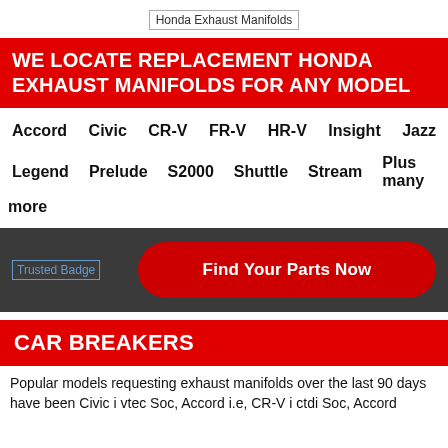[Figure (photo): Broken image placeholder labeled 'Honda Exhaust Manifolds']
WE LOCATE REPLACEMENT HONDA EXHAUST MANIFOLDS FOR ANY MODEL
Accord   Civic   CR-V   FR-V   HR-V   Insight   Jazz
Legend   Prelude   S2000   Shuttle   Stream   Plus many more
[Figure (logo): Trusted Badge image placeholder]
Find Your Parts Now
CAR BREAKERS
Popular models requesting exhaust manifolds over the last 90 days have been Civic i vtec Soc, Accord i.e, CR-V i ctdi Soc, Accord